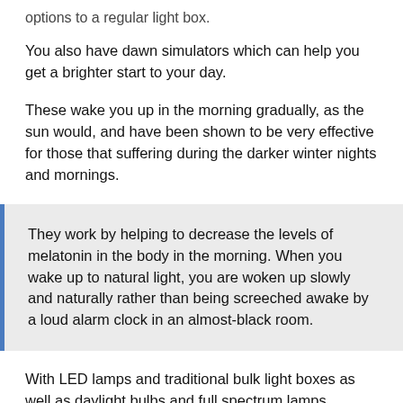options to a regular light box.
You also have dawn simulators which can help you get a brighter start to your day.
These wake you up in the morning gradually, as the sun would, and have been shown to be very effective for those that suffering during the darker winter nights and mornings.
They work by helping to decrease the levels of melatonin in the body in the morning. When you wake up to natural light, you are woken up slowly and naturally rather than being screeched awake by a loud alarm clock in an almost-black room.
With LED lamps and traditional bulk light boxes as well as daylight bulbs and full spectrum lamps, picking the right one is important to getting the best treatment. Dawn simulators help with the sleeping and waking patterns of a SAD sufferer, for example, but it won't b the right that of full... light b...